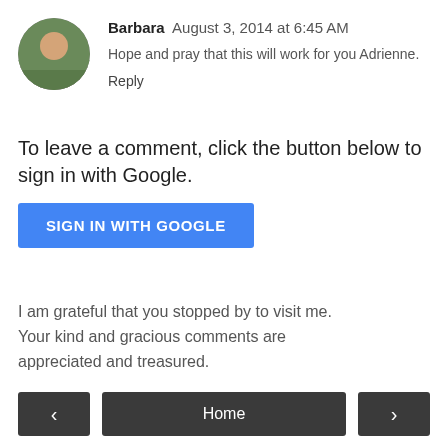Barbara  August 3, 2014 at 6:45 AM
Hope and pray that this will work for you Adrienne.
Reply
To leave a comment, click the button below to sign in with Google.
SIGN IN WITH GOOGLE
I am grateful that you stopped by to visit me. Your kind and gracious comments are appreciated and treasured.
‹
Home
›
View web version
Powered by Blogger.